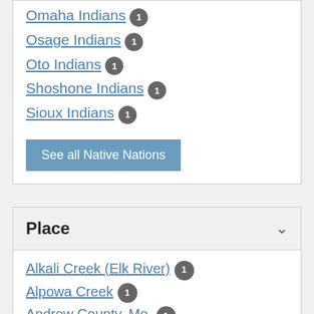Omaha Indians 1
Osage Indians 1
Oto Indians 1
Shoshone Indians 1
Sioux Indians 1
See all Native Nations
Place
Alkali Creek (Elk River) 1
Alpowa Creek 1
Andrew County, Mo. 1
Armells (South Mountain) Creek (Fergus County, Mont.) 1
Arrow Creek (Slaughter River) 1
Arrow Prairie 1
Arrow Rock State Park (Mo.)